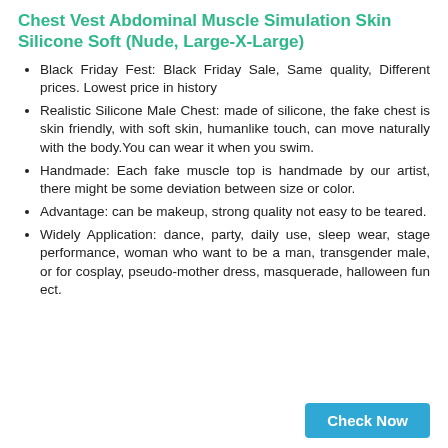Chest Vest Abdominal Muscle Simulation Skin Silicone Soft (Nude, Large-X-Large)
Black Friday Fest: Black Friday Sale, Same quality, Different prices. Lowest price in history
Realistic Silicone Male Chest: made of silicone, the fake chest is skin friendly, with soft skin, humanlike touch, can move naturally with the body.You can wear it when you swim.
Handmade: Each fake muscle top is handmade by our artist, there might be some deviation between size or color.
Advantage: can be makeup, strong quality not easy to be teared.
Widely Application: dance, party, daily use, sleep wear, stage performance, woman who want to be a man, transgender male, or for cosplay, pseudo-mother dress, masquerade, halloween fun ect.
Check Now